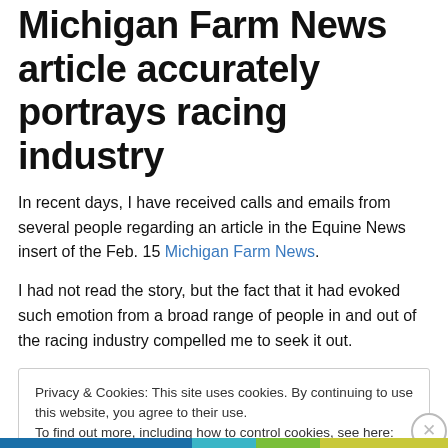Michigan Farm News article accurately portrays racing industry
In recent days, I have received calls and emails from several people regarding an article in the Equine News insert of the Feb. 15 Michigan Farm News.
I had not read the story, but the fact that it had evoked such emotion from a broad range of people in and out of the racing industry compelled me to seek it out.
Privacy & Cookies: This site uses cookies. By continuing to use this website, you agree to their use.
To find out more, including how to control cookies, see here: Cookie Policy